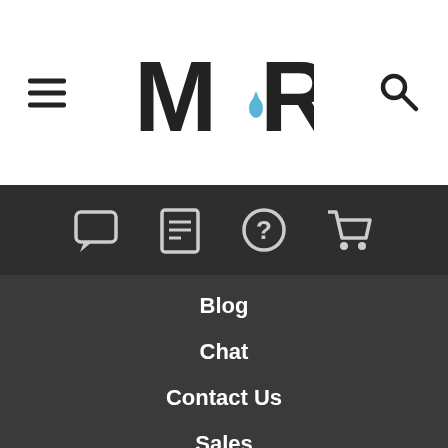[Figure (logo): MR logo with water drop between M and R letters]
[Figure (infographic): Navigation icon bar with chat bubble, document, help circle, and shopping cart icons on dark background]
Blog
Chat
Contact Us
Sales
Support
Returns
Careers
Privacy